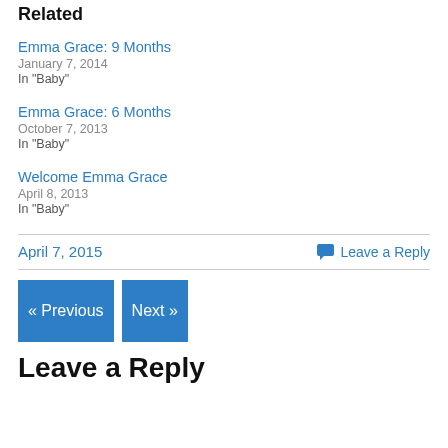Related
Emma Grace: 9 Months
January 7, 2014
In "Baby"
Emma Grace: 6 Months
October 7, 2013
In "Baby"
Welcome Emma Grace
April 8, 2013
In "Baby"
April 7, 2015
Leave a Reply
« Previous
Next »
Leave a Reply